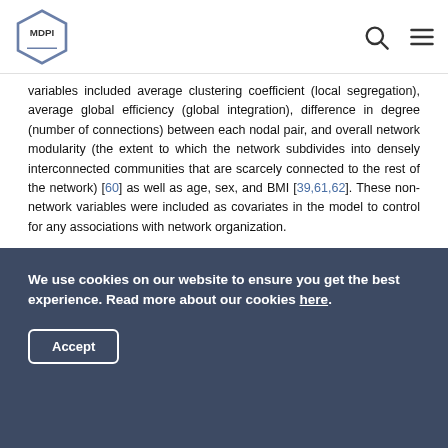MDPI
variables included average clustering coefficient (local segregation), average global efficiency (global integration), difference in degree (number of connections) between each nodal pair, and overall network modularity (the extent to which the network subdivides into densely interconnected communities that are scarcely connected to the rest of the network) [60] as well as age, sex, and BMI [39,61,62]. These non-network variables were included as covariates in the model to control for any associations with network organization.
3. Results
The mixed-model framework tested the hypothesis that the
We use cookies on our website to ensure you get the best experience. Read more about our cookies here.
Accept